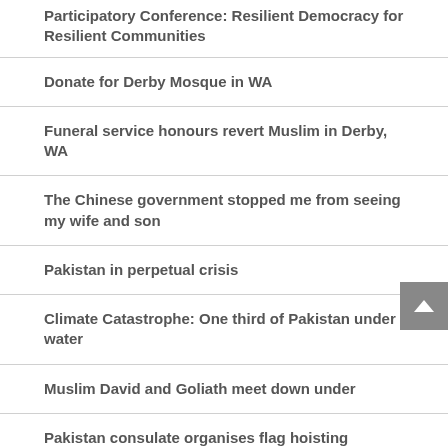Participatory Conference: Resilient Democracy for Resilient Communities
Donate for Derby Mosque in WA
Funeral service honours revert Muslim in Derby, WA
The Chinese government stopped me from seeing my wife and son
Pakistan in perpetual crisis
Climate Catastrophe: One third of Pakistan under water
Muslim David and Goliath meet down under
Pakistan consulate organises flag hoisting ceremony
Top Tweets #Pakistan